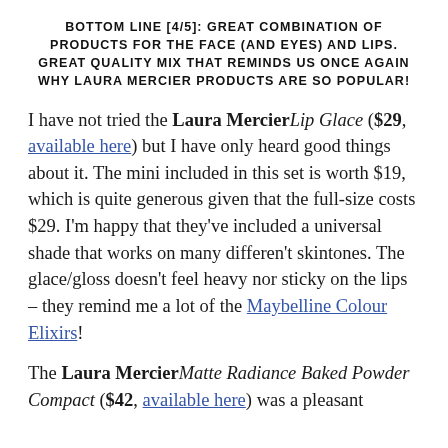BOTTOM LINE [4/5]: GREAT COMBINATION OF PRODUCTS FOR THE FACE (AND EYES) AND LIPS. GREAT QUALITY MIX THAT REMINDS US ONCE AGAIN WHY LAURA MERCIER PRODUCTS ARE SO POPULAR!
I have not tried the Laura Mercier Lip Glace ($29, available here) but I have only heard good things about it. The mini included in this set is worth $19, which is quite generous given that the full-size costs $29. I'm happy that they've included a universal shade that works on many differen't skintones. The glace/gloss doesn't feel heavy nor sticky on the lips – they remind me a lot of the Maybelline Colour Elixirs!
The Laura Mercier Matte Radiance Baked Powder Compact ($42, available here) was a pleasant